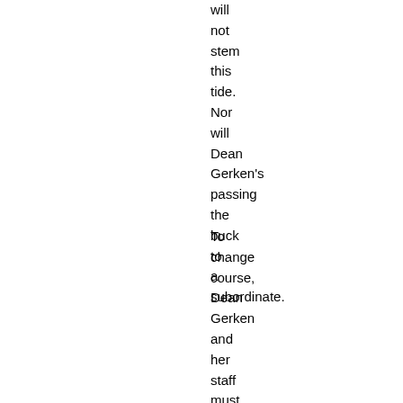will not stem this tide. Nor will Dean Gerken's passing the buck to a subordinate.
To change course, Dean Gerken and her staff must (be persuaded to)